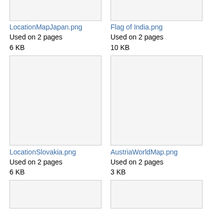[Figure (photo): Thumbnail placeholder for LocationMapJapan.png]
LocationMapJapan.png
Used on 2 pages
6 KB
[Figure (photo): Thumbnail placeholder for Flag of India.png]
Flag of India.png
Used on 2 pages
10 KB
[Figure (photo): Thumbnail placeholder for LocationSlovakia.png]
LocationSlovakia.png
Used on 2 pages
6 KB
[Figure (photo): Thumbnail placeholder for AustriaWorldMap.png]
AustriaWorldMap.png
Used on 2 pages
3 KB
[Figure (photo): Partial thumbnail at bottom left]
[Figure (photo): Partial thumbnail at bottom right]